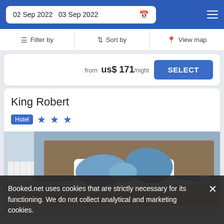02 Sep 2022  03 Sep 2022
Filter by  |  Sort by  |  View map
from us$ 171/night  SELECT
King Robert
Hotel  ★★★
[Figure (photo): Hotel room photo showing a large bed with white linens and blue pillows against a blue-grey wall with a white radiator on the left side]
Booked.net uses cookies that are strictly necessary for its functioning. We do not collect analytical and marketing cookies.